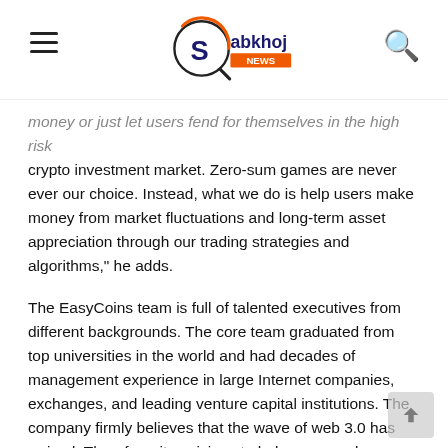Sabkhoj NEWS
money or just let users fend for themselves in the high risk crypto investment market. Zero-sum games are never ever our choice. Instead, what we do is help users make money from market fluctuations and long-term asset appreciation through our trading strategies and algorithms," he adds.
The EasyCoins team is full of talented executives from different backgrounds. The core team graduated from top universities in the world and had decades of management experience in large Internet companies, exchanges, and leading venture capital institutions. The company firmly believes that the wave of web 3.0 has arrived. Therefore, it envisions to help users embrace this wave more calmly and benefit from it through their investments in crypto assets.
Today's cryptocurrency exchanges have various problems. They are too complex and elusive for the common man. Even